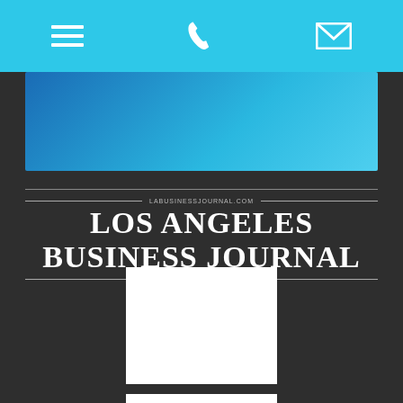[Figure (screenshot): Mobile navigation bar with hamburger menu icon, phone icon, and email/envelope icon on a cyan/light blue background]
[Figure (screenshot): Blue gradient banner rectangle below the navigation bar]
[Figure (logo): Los Angeles Business Journal logo in white text with decorative horizontal rules and tagline 'The Community of Business' on dark background]
[Figure (screenshot): White rectangle content placeholder box 1]
[Figure (screenshot): White rectangle content placeholder box 2 (partially visible at bottom)]